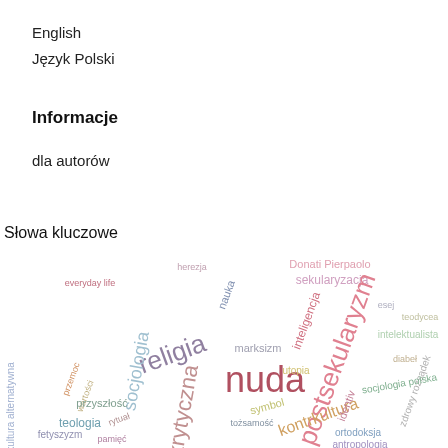English
Język Polski
Informacje
dla autorów
Słowa kluczowe
[Figure (infographic): Word cloud in Polish with terms including: nuda, postsekularyzm, religia, socjologia, krytyczna, kontrkultura, intelektualista, sekularyzacja, Donati Pierpaolo, nauka, marksizm, inteligencja, kultura alternatywna, teologia, przyszłość, wartości, przemoc, fetyszyzm, rytuał, pamięć, utopia, symbol, tożsamość, ortodoksja, antropologia, teodycea, socjologia polska, zdrowy rozsądek, diabeł, esej, herezja, everyday life, identiv]